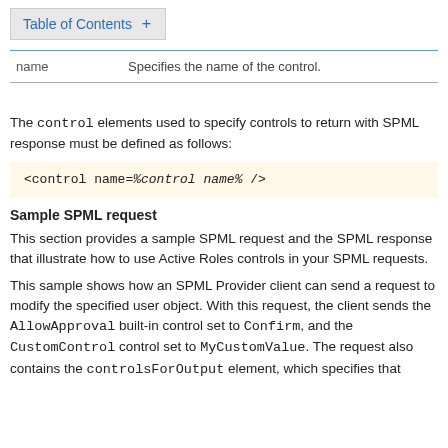Table of Contents +
| name | Specifies the name of the control. |
| --- | --- |
The control elements used to specify controls to return with SPML response must be defined as follows:
Sample SPML request
This section provides a sample SPML request and the SPML response that illustrate how to use Active Roles controls in your SPML requests.
This sample shows how an SPML Provider client can send a request to modify the specified user object. With this request, the client sends the AllowApproval built-in control set to Confirm, and the CustomControl control set to MyCustomValue. The request also contains the controlsForOutput element, which specifies that